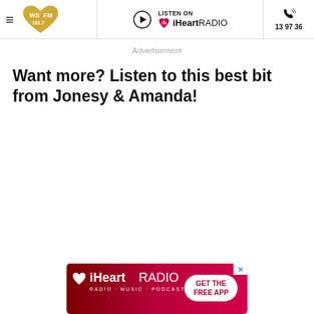WSFM 101.7 | LISTEN ON iHeartRADIO | 13 97 36
Advertisement
Want more? Listen to this best bit from Jonesy & Amanda!
[Figure (logo): iHeartRADIO advertisement banner with GET THE FREE APP button]